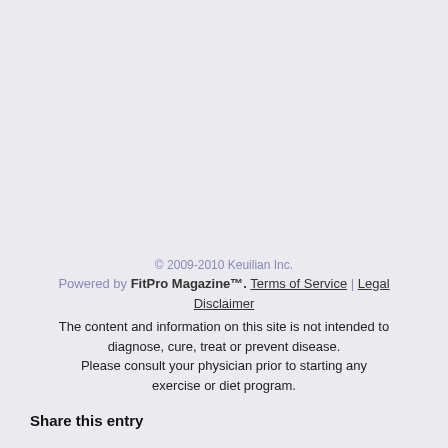© 2009-2010 Keuilian Inc. Powered by FitPro Magazine™. Terms of Service | Legal Disclaimer
The content and information on this site is not intended to diagnose, cure, treat or prevent disease.
Please consult your physician prior to starting any exercise or diet program.
Share this entry